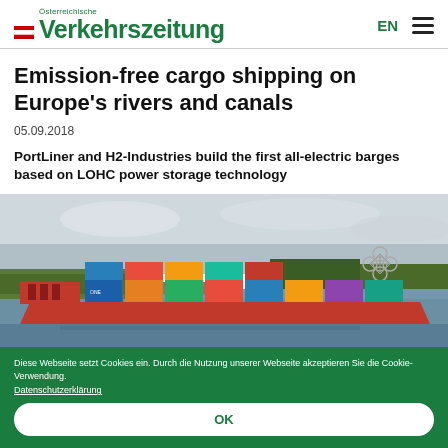Österreichische Verkehrszeitung | EN
Emission-free cargo shipping on Europe's rivers and canals
05.09.2018
PortLiner and H2-Industries build the first all-electric barges based on LOHC power storage technology
[Figure (photo): A cargo barge loaded with colorful shipping containers navigating a canal with the Atomium structure visible in the background and trees on the bank.]
Diese Webseite setzt Cookies ein. Durch die Nutzung unserer Webseite akzeptieren Sie die Cookie-Verwendung. Datenschutzerklärung
OK